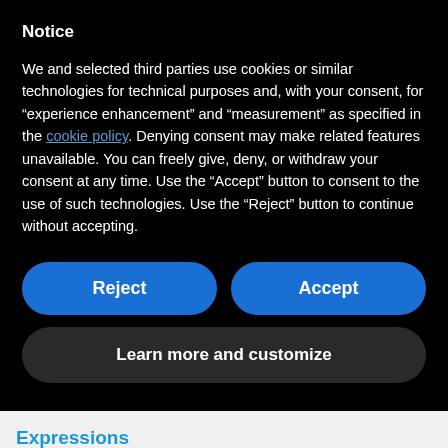Notice
We and selected third parties use cookies or similar technologies for technical purposes and, with your consent, for “experience enhancement” and “measurement” as specified in the cookie policy. Denying consent may make related features unavailable. You can freely give, deny, or withdraw your consent at any time. Use the “Accept” button to consent to the use of such technologies. Use the “Reject” button to continue without accepting.
[Figure (other): Two blue pill-shaped buttons side by side labeled Reject and Accept, and below them a dark pill-shaped button labeled Learn more and customize]
Expressions
[Figure (other): Archives section header bar in teal/blue with a chevron up arrow on the right side]